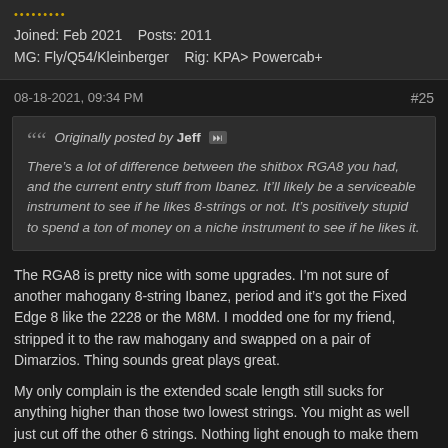Joined: Feb 2021  Posts: 2011
MG: Fly/Q54/Kleinberger  Rig: KPA> Powercab+
08-18-2021, 09:34 PM  #25
Originally posted by Jeff
There’s a lot of difference between the shitbox RGA8 you had, and the current entry stuff from Ibanez. It’ll likely be a serviceable instrument to see if he likes 8-strings or not. It’s positively stupid to spend a ton of money on a niche instrument to see if he likes it.
The RGA8 is pretty nice with some upgrades. I’m not sure of another mahogany 8-string Ibanez, period and it’s got the Fixed Edge 8 like the 2228 or the M8M. I modded one for my friend, stripped it to the raw mahogany and swapped on a pair of Dimarzios. Thing sounds great plays great.
My only complain is the extended scale length still sucks for anything higher than those two lowest strings. You might as well just cut off the other 6 strings. Nothing light enough to make them feel playable.
@desertdweller only thing I’d say about the Ibanez fanned 8 is that they kinda boogered the placement of the straight fret